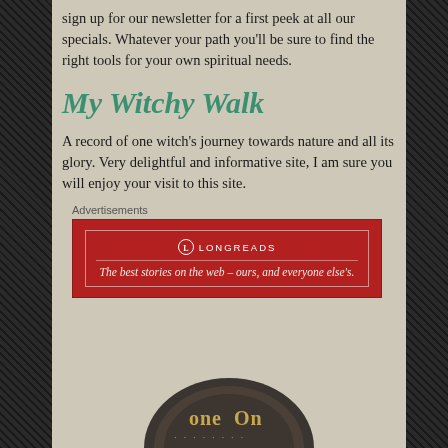sign up for our newsletter for a first peek at all our specials. Whatever your path you'll be sure to find the right tools for your own spiritual needs.
My Witchy Walk
A record of one witch's journey towards nature and all its glory. Very delightful and informative site, I am sure you will enjoy your visit to this site.
[Figure (other): Longreads advertisement banner with red background showing logo and tagline: The best stories on the web – ours, and everyone else's.]
[Figure (photo): Bottom portion of a dark metal coin with text 'one On' visible, partially cropped at the bottom of the page.]